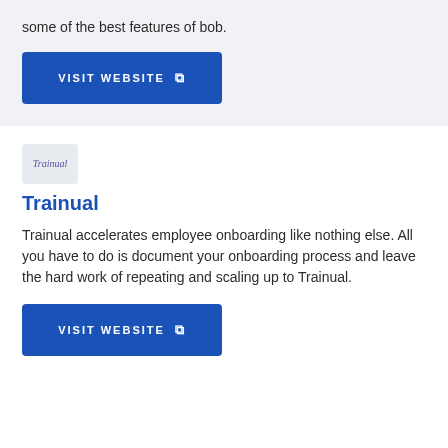some of the best features of bob.
[Figure (other): Blue 'VISIT WEBSITE' button with external link icon]
[Figure (logo): Trainual logo with script text]
Trainual
Trainual accelerates employee onboarding like nothing else. All you have to do is document your onboarding process and leave the hard work of repeating and scaling up to Trainual.
[Figure (other): Blue 'VISIT WEBSITE' button with external link icon]